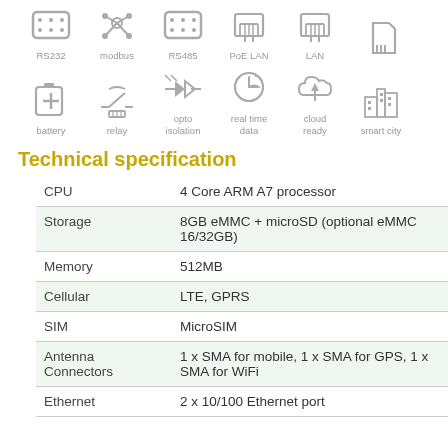[Figure (illustration): Two rows of interface/feature icons in gray: RS232, modbus, RS485, PoE LAN, LAN, (SD card); battery, relay, opto isolation, real time data, cloud ready, smart city]
Technical specification
| CPU | 4 Core ARM A7 processor |
| Storage | 8GB eMMC + microSD (optional eMMC 16/32GB) |
| Memory | 512MB |
| Cellular | LTE, GPRS |
| SIM | MicroSIM |
| Antenna
Connectors | 1 x SMA for mobile, 1 x SMA for GPS, 1 x SMA for WiFi |
| Ethernet | 2 x 10/100 Ethernet port |